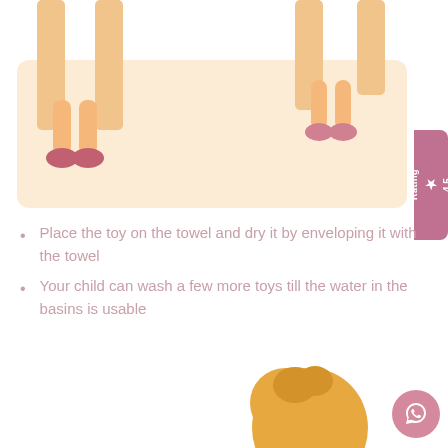[Figure (illustration): Cartoon illustration showing children's legs dangling from what appears to be a table or bench, with an orange/peach colored table surface and wooden legs. The background is a light peach color.]
Place the toy on the towel and dry it by enveloping it with the towel
Your child can wash a few more toys till the water in the basins is usable
[Figure (illustration): Bottom portion showing a cartoon character (orange/golden color, partial view of a head/figure) and a pink circular WhatsApp button icon on the right side.]